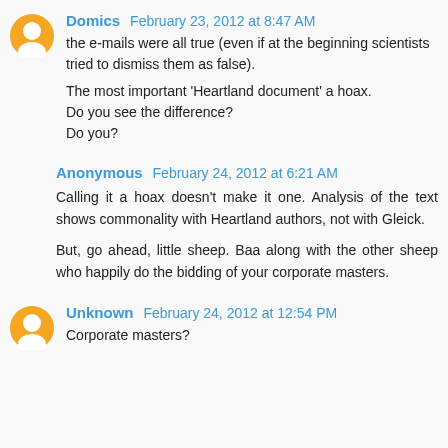Domics  February 23, 2012 at 8:47 AM
the e-mails were all true (even if at the beginning scientists tried to dismiss them as false).

The most important 'Heartland document' a hoax. Do you see the difference?
Do you?
Anonymous  February 24, 2012 at 6:21 AM
Calling it a hoax doesn't make it one. Analysis of the text shows commonality with Heartland authors, not with Gleick.

But, go ahead, little sheep. Baa along with the other sheep who happily do the bidding of your corporate masters.
Unknown  February 24, 2012 at 12:54 PM
Corporate masters?